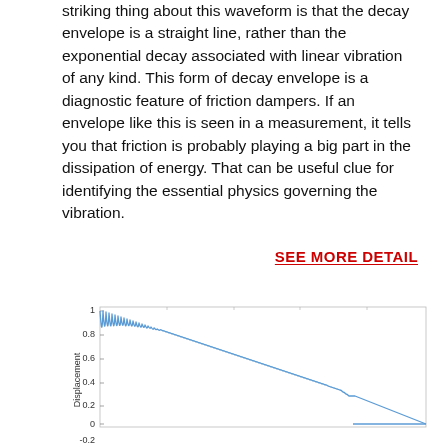striking thing about this waveform is that the decay envelope is a straight line, rather than the exponential decay associated with linear vibration of any kind. This form of decay envelope is a diagnostic feature of friction dampers. If an envelope like this is seen in a measurement, it tells you that friction is probably playing a big part in the dissipation of energy. That can be useful clue for identifying the essential physics governing the vibration.
SEE MORE DETAIL
[Figure (continuous-plot): A waveform plot showing displacement vs time. The signal starts at amplitude ~1 and decays with a linear envelope (straight-line decay characteristic of friction damping) down to near zero, then flatlines. The waveform oscillates rapidly with decreasing amplitude until it stops.]